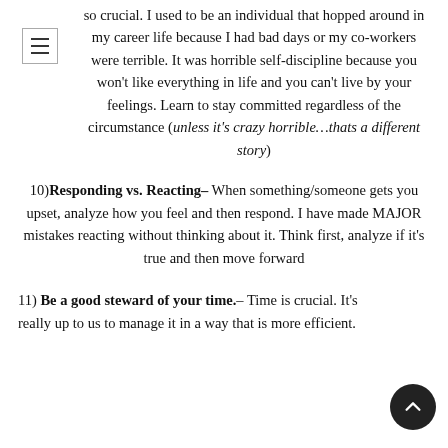so crucial. I used to be an individual that hopped around in my career life because I had bad days or my co-workers were terrible. It was horrible self-discipline because you won't like everything in life and you can't live by your feelings. Learn to stay committed regardless of the circumstance (unless it's crazy horrible…thats a different story)
10) Responding vs. Reacting– When something/someone gets you upset, analyze how you feel and then respond. I have made MAJOR mistakes reacting without thinking about it. Think first, analyze if it's true and then move forward
11) Be a good steward of your time.– Time is crucial. It's really up to us to manage it in a way that is more efficient.